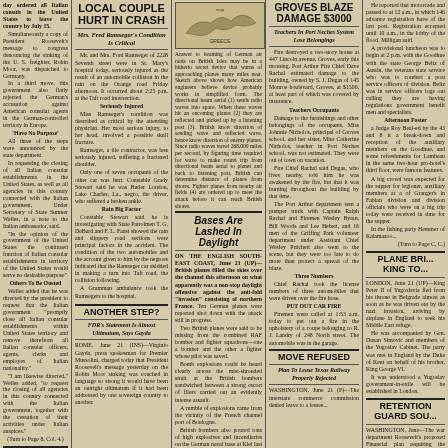LOCAL COUPLE HURT IN CRASH
Mrs. Fred Ramseger's Condition Is Critical
Mr. and Mrs. Ford Ramseger of 2228 Seventh street were in St. Mary's hospital today, seriously injured as the result of an automobile collision in the rain on the Orange road Friday afternoon. It occurred about 2:25 p.m. at the Taft road intersection. Seriously Injured Miss Ramseger's condition was described as critical by the attending physician. Her most serious injury, to her head, involved a possible skull fracture. Ramseger, a tile contractor, was less seriously injured, suffering a fractured shoulder. Only one of seven occupants of the other car was hurt. Constable Grady Stewart said he was Butler London, Lake Charles, La., negro, the driver, who suffered a broken ankle.
ANOTHER STEP?
FDR's Statement Is Almost Ultimatum, Says Gayda
ROME, June 21 (INS)—Virginio Gayda, press spokesman for Premier Mussolini, charged today that President Roosevelt's message yesterday on the Robin Moor sinking was couched in language so strong it would have been an outright ultimatum...
K. C. ANGLERS TO VISIT CITY
Port Arthur will be host Tuesday to a fishing party composed of businessmen and professional men from Kansas City, Mo...
NEW FLYING SCHOOL LOCATED IN TEXAS
WASHINGTON, June 21 (INS)—The war department today selected a 1,272 acre tract of land about six miles from the cities of Sherman and addition, Tex., as a site for a new air corps flying school...
Bases Are Lashed In Daylight
ON THE ENGLISH SOUTH-EAST COAST, June 21 (UP)—British planes filled the skies over the channel this afternoon on what apparently was a non-stop daylight offensive against the anti-fold invasion consisting of northern France. Ten German planes were reported shot down with the attack still in progress.
POT CANVASS DUE SUNDAY
Pots for Bombers, the citywide drive for aluminum for Uncle Sam's airplanes, is scheduled to get into high gear Sunday, as Port Arthur Eagles and Boy Scouts make a house-to-house canvass for old stands of the defense metal.
GROVES BLAZE DAMAGE $3000
Teachers In Port Neches System Lose Belongings
Fire destroyed a two-story house at 447 Lincoln avenue, Groves, early this morning. Port Arthur Fire Chief Dave Rachal estimated damage to the building, owned by S. J. Dugas of 145 Monroe boulevard, Groves, at $1500, at least part of which was covered by insurance.
MOVE REFUSED
Plan To Lease Texas Railway Properly Rejected
WASHINGTON, June 21 (P) The interstate commerce commission denied leave to a lessee...
PLANE BRINGS KING TO...
LONDON, June 21 (UP)—King Peter II of Yugoslavia fled from his throne in Belgrade almost as soon as he was driven out by the nazi invasion, arriving by airplane in England to seek his Middle East refuge.
RETENTION GUARD SOU...